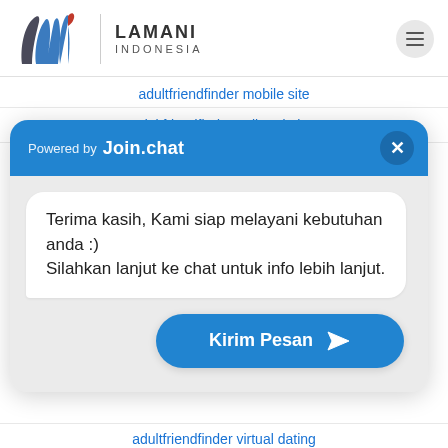[Figure (logo): Lamani Indonesia logo with stylized 'luw' graphic and text 'LAMANI INDONESIA']
adultfriendfinder mobile site
adultfriendfinder online dating
[Figure (screenshot): Join.chat popup widget with header 'Powered by Join.chat', message bubble saying 'Terima kasih, Kami siap melayani kebutuhan anda :) Silahkan lanjut ke chat untuk info lebih lanjut.' and a 'Kirim Pesan' send button]
adultfriendfinder virtual dating